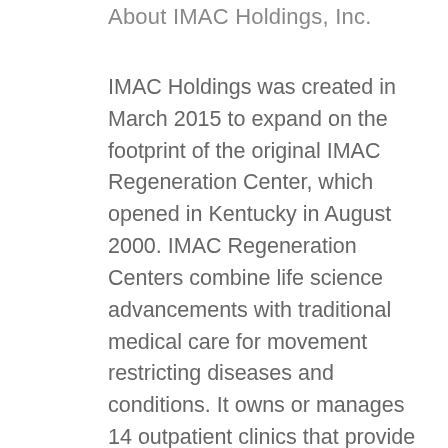About IMAC Holdings, Inc.
IMAC Holdings was created in March 2015 to expand on the footprint of the original IMAC Regeneration Center, which opened in Kentucky in August 2000. IMAC Regeneration Centers combine life science advancements with traditional medical care for movement restricting diseases and conditions. It owns or manages 14 outpatient clinics that provide regenerative, orthopedic and minimally invasive procedures and therapies. It has partnered with several active and former professional athletes, including Ozzie Smith, IMAC...